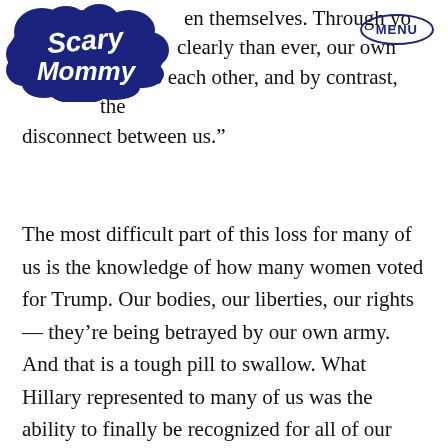Scary Mommy [logo] MENU
includ... en themselves. Through yo... clearly than ever, our own ... tions to each other, and by contrast, the disconnect between us.”
The most difficult part of this loss for many of us is the knowledge of how many women voted for Trump. Our bodies, our liberties, our rights — they’re being betrayed by our own army. And that is a tough pill to swallow. What Hillary represented to many of us was the ability to finally be recognized for all of our accomplishments. For some sort of national co-sign that women are, in fact, equal.